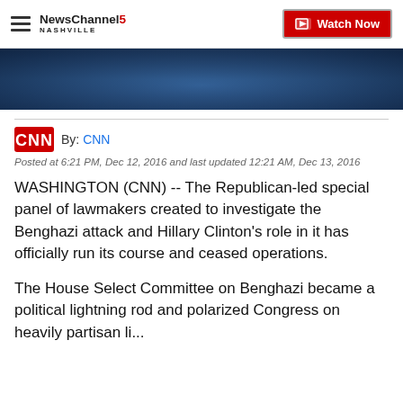NewsChannel 5 NASHVILLE | Watch Now
[Figure (photo): Dark blue-toned hero image banner]
By: CNN
Posted at 6:21 PM, Dec 12, 2016 and last updated 12:21 AM, Dec 13, 2016
WASHINGTON (CNN) -- The Republican-led special panel of lawmakers created to investigate the Benghazi attack and Hillary Clinton's role in it has officially run its course and ceased operations.
The House Select Committee on Benghazi became a political lightning rod and polarized Congress on heavily partisan lines...